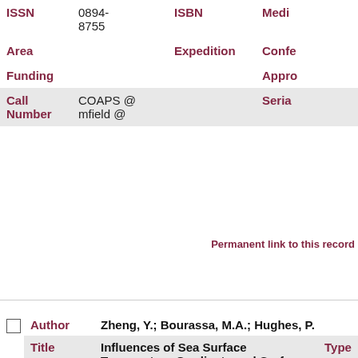| Field | Value | Field2 | Value2 |
| --- | --- | --- | --- |
| ISSN | 0894-8755 | ISBN | Mediu… |
| Area |  | Expedition | Confe… |
| Funding |  |  | Appro… |
| Call Number | COAPS @ mfield @ |  | Seria… |
Permanent link to this record
|  | Field | Value | Type |
| --- | --- | --- | --- |
| ☐ | Author | Zheng, Y.; Bourassa, M.A.; Hughes, P. |  |
|  | Title | Influences of Sea Surface Temperature Gradients and Surface Roughness Changes on the Motion | Type |